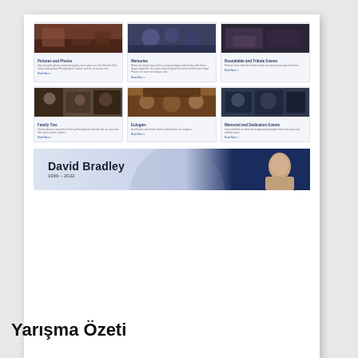[Figure (screenshot): Screenshot of a website showing a 2x3 grid of photo cards with titles and descriptions, plus a memorial banner for David Bradley 1999-2022]
David Bradley
1999 – 2022
Yarışma Özeti